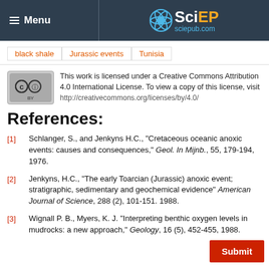Menu | SciEP sciepub.com
black shale
Jurassic events
Tunisia
This work is licensed under a Creative Commons Attribution 4.0 International License. To view a copy of this license, visit http://creativecommons.org/licenses/by/4.0/
References:
[1] Schlanger, S., and Jenkyns H.C., "Cretaceous oceanic anoxic events: causes and consequences," Geol. In Mijnb., 55, 179-194, 1976.
[2] Jenkyns, H.C., "The early Toarcian (Jurassic) anoxic event; stratigraphic, sedimentary and geochemical evidence" American Journal of Science, 288 (2), 101-151. 1988.
[3] Wignall P. B., Myers, K. J. "Interpreting benthic oxygen levels in mudrocks: a new approach," Geology, 16 (5), 452-455, 1988.